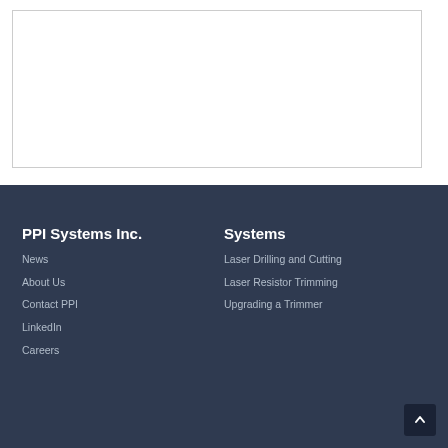[Figure (other): White rectangle with border, likely a cropped image placeholder from the PPI Systems website.]
PPI Systems Inc.
News
About Us
Contact PPI
LinkedIn
Careers
Systems
Laser Drilling and Cutting
Laser Resistor Trimming
Upgrading a Trimmer